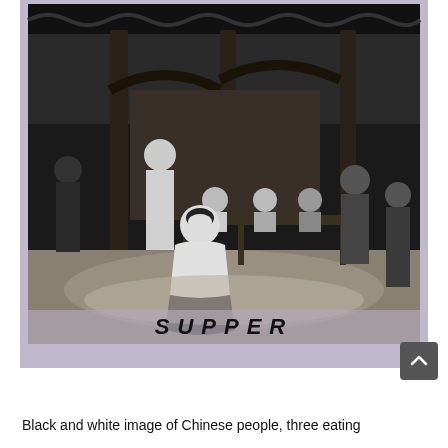[Figure (photo): Black and white historical photograph showing Chinese people gathered under a covered outdoor structure. Several people are seated at a long table eating, with others standing around them. A woman in white clothing is prominently positioned in the foreground. The word 'SUPPER' is handwritten at the bottom of the photograph. The image appears to be a lantern slide or glass plate photograph with a purple/lavender border.]
Black and white image of Chinese people, three eating